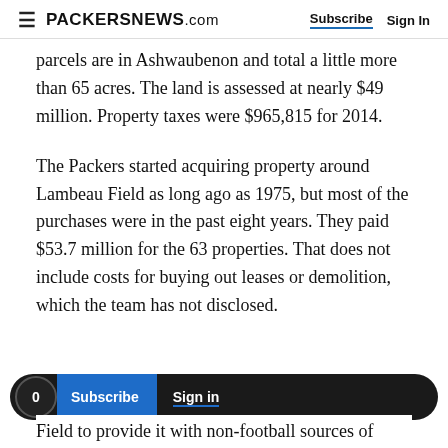PACKERSNEWS.com | Subscribe | Sign In
parcels are in Ashwaubenon and total a little more than 65 acres. The land is assessed at nearly $49 million. Property taxes were $965,815 for 2014.
The Packers started acquiring property around Lambeau Field as long ago as 1975, but most of the purchases were in the past eight years. They paid $53.7 million for the 63 properties. That does not include costs for buying out leases or demolition, which the team has not disclosed.
Field to provide it with non-football sources of